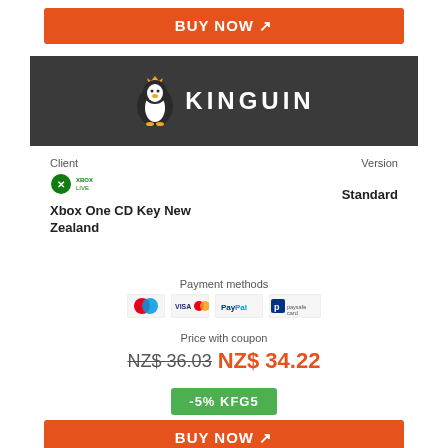[Figure (other): Orange BUY NOW button with arrow icon at top of page]
[Figure (logo): Kinguin logo on dark grey background — penguin mascot with crown and KINGUIN text]
Client
Version
[Figure (logo): Xbox Live logo icon]
Xbox One CD Key New Zealand
Standard
Payment methods
[Figure (other): Payment method icons: Maestro, Visa/Mastercard, PayPal, Paysafecard]
Price with coupon
NZ$ 36.03 NZ$ 34.22
-5% KFG5
[Figure (other): Orange BUY NOW button with arrow icon at bottom of page]